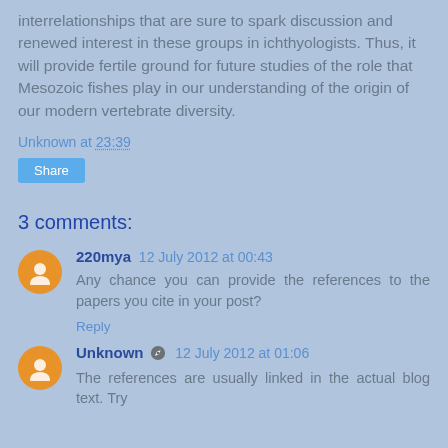interrelationships that are sure to spark discussion and renewed interest in these groups in ichthyologists. Thus, it will provide fertile ground for future studies of the role that Mesozoic fishes play in our understanding of the origin of our modern vertebrate diversity.
Unknown at 23:39
Share
3 comments:
220mya  12 July 2012 at 00:43
Any chance you can provide the references to the papers you cite in your post?
Reply
Unknown  12 July 2012 at 01:06
The references are usually linked in the actual blog text. Try